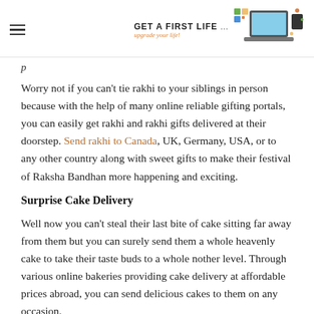Get A First Life — upgrade your life! [logo with laptop/computer graphic]
Worry not if you can't tie rakhi to your siblings in person because with the help of many online reliable gifting portals, you can easily get rakhi and rakhi gifts delivered at their doorstep. Send rakhi to Canada, UK, Germany, USA, or to any other country along with sweet gifts to make their festival of Raksha Bandhan more happening and exciting.
Surprise Cake Delivery
Well now you can't steal their last bite of cake sitting far away from them but you can surely send them a whole heavenly cake to take their taste buds to a whole nother level. Through various online bakeries providing cake delivery at affordable prices abroad, you can send delicious cakes to them on any occasion.